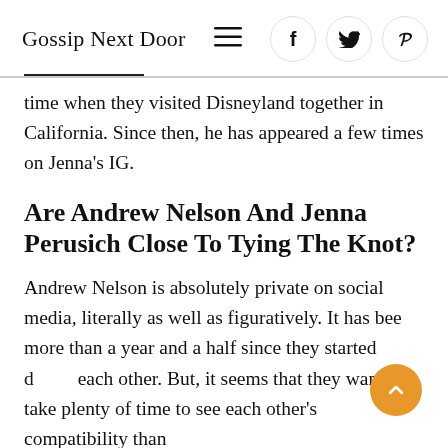Gossip Next Door
time when they visited Disneyland together in California. Since then, he has appeared a few times on Jenna's IG.
Are Andrew Nelson And Jenna Perusich Close To Tying The Knot?
Andrew Nelson is absolutely private on social media, literally as well as figuratively. It has been more than a year and a half since they started dating each other. But, it seems that they want to take plenty of time to see each other's compatibility than